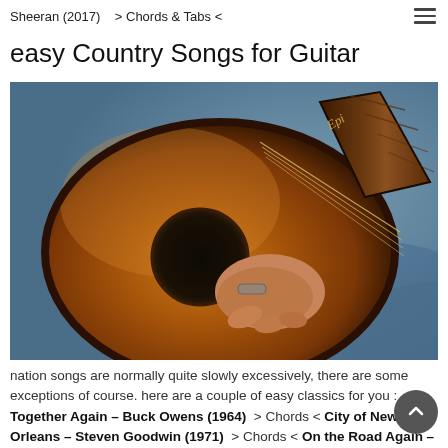Sheeran (2017)   > Chords & Tabs <
easy Country Songs for Guitar
[Figure (photo): Close-up photo of a person playing an acoustic guitar (Epi brand visible on headstock), warm brown sunburst finish, person wearing bracelet, blue jeans visible in background]
nation songs are normally quite slowly excessively, there are some exceptions of course. here are a couple of easy classics for you : Together Again – Buck Owens (1964)  > Chords < City of New Orleans – Steven Goodwin (1971)  > Chords < On the Road Again – Willie Nelson (1980)   > Chords < > Tabs < Drive – Alan